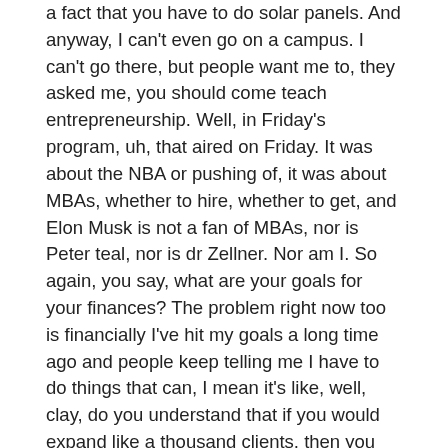a fact that you have to do solar panels. And anyway, I can't even go on a campus. I can't go there, but people want me to, they asked me, you should come teach entrepreneurship. Well, in Friday's program, uh, that aired on Friday. It was about the NBA or pushing of, it was about MBAs, whether to hire, whether to get, and Elon Musk is not a fan of MBAs, nor is Peter teal, nor is dr Zellner. Nor am I. So again, you say, what are your goals for your finances? The problem right now too is financially I've hit my goals a long time ago and people keep telling me I have to do things that can, I mean it's like, well, clay, do you understand that if you would expand like a thousand clients, then you could make more money.
I don't want a thousand clients. I want 160 of you and that's it. Jason, you see me do onboarding. So what kind of people are a good fit for our program and who's not? People who understand, well, one, people who are coachable, um, people who are willing to grow. When you and I, I've noticed there's like a certain look that you give when you're doing the onboarding and you say, okay, well initial homework before we set this whole thing up, I